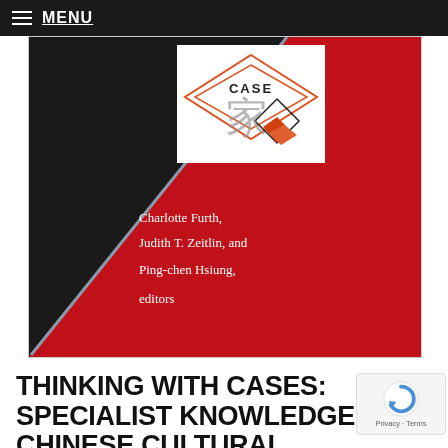MENU
[Figure (photo): Book cover for 'Thinking with Cases: Specialist Knowledge in Chinese Cultural History'. Cover features a black and red diagonal design with a CASE logo (overlapping diamond shapes with Chinese calligraphy) in the upper center. Author names listed in white text on the black portion: Charlotte Furth, Judith T. Zeitlin, and Ping-chen Hsiung, editors.]
THINKING WITH CASES: SPECIALIST KNOWLEDGE IN CHINESE CULTURAL HISTORY